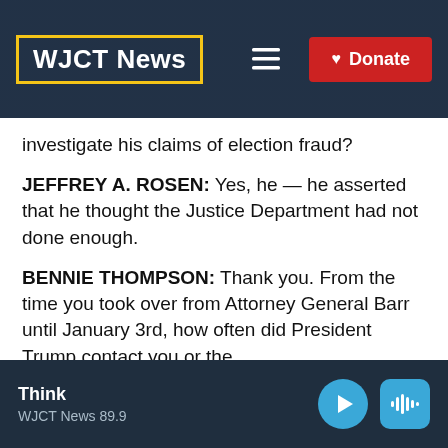WJCT News
investigate his claims of election fraud?
JEFFREY A. ROSEN: Yes, he — he asserted that he thought the Justice Department had not done enough.
BENNIE THOMPSON: Thank you. From the time you took over from Attorney General Barr until January 3rd, how often did President Trump contact you or the
Think
WJCT News 89.9